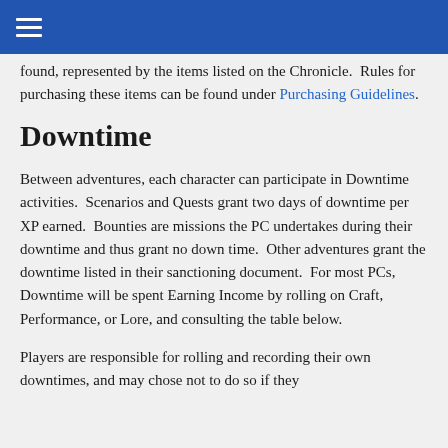Organized Play Foundation (navigation bar)
found, represented by the items listed on the Chronicle. Rules for purchasing these items can be found under Purchasing Guidelines.
Downtime
Between adventures, each character can participate in Downtime activities. Scenarios and Quests grant two days of downtime per XP earned. Bounties are missions the PC undertakes during their downtime and thus grant no down time. Other adventures grant the downtime listed in their sanctioning document. For most PCs, Downtime will be spent Earning Income by rolling on Craft, Performance, or Lore, and consulting the table below.
Players are responsible for rolling and recording their own downtimes, and may chose not to do so if they